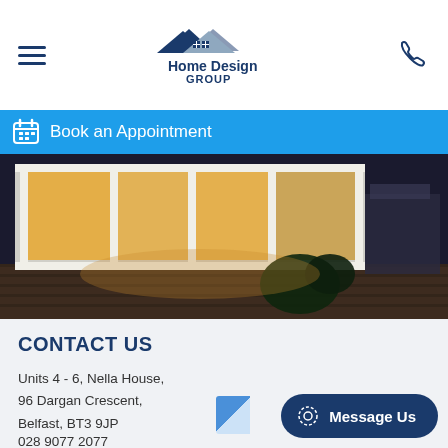Home Design GROUP — navigation header with hamburger menu, logo, and phone icon
Book an Appointment
[Figure (photo): Photograph of a bay window on a house exterior with white uPVC frames, brick base, and outdoor furniture visible to the right, taken at dusk/night with warm interior lighting]
CONTACT US
Units 4 - 6, Nella House,
96 Dargan Crescent,
Belfast, BT3 9JP
028 9077 2077